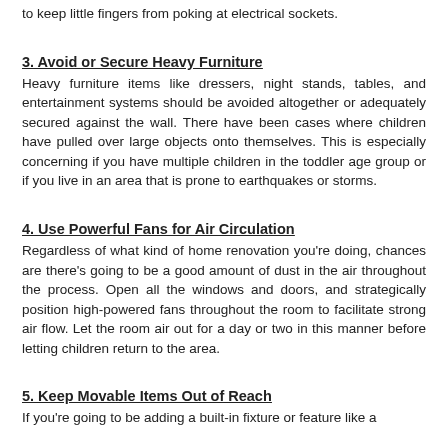to keep little fingers from poking at electrical sockets.
3. Avoid or Secure Heavy Furniture
Heavy furniture items like dressers, night stands, tables, and entertainment systems should be avoided altogether or adequately secured against the wall. There have been cases where children have pulled over large objects onto themselves. This is especially concerning if you have multiple children in the toddler age group or if you live in an area that is prone to earthquakes or storms.
4. Use Powerful Fans for Air Circulation
Regardless of what kind of home renovation you're doing, chances are there's going to be a good amount of dust in the air throughout the process. Open all the windows and doors, and strategically position high-powered fans throughout the room to facilitate strong air flow. Let the room air out for a day or two in this manner before letting children return to the area.
5. Keep Movable Items Out of Reach
If you're going to be adding a built-in fixture or feature like a